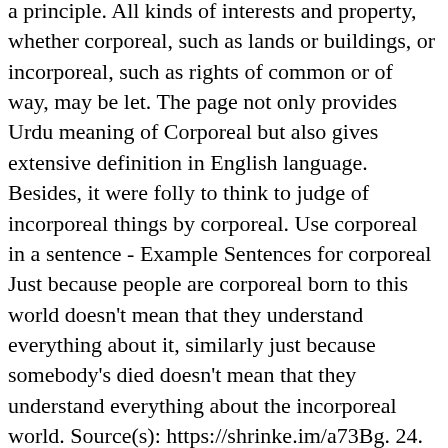a principle. All kinds of interests and property, whether corporeal, such as lands or buildings, or incorporeal, such as rights of common or of way, may be let. The page not only provides Urdu meaning of Corporeal but also gives extensive definition in English language. Besides, it were folly to think to judge of incorporeal things by corporeal. Use corporeal in a sentence - Example Sentences for corporeal Just because people are corporeal born to this world doesn't mean that they understand everything about it, similarly just because somebody's died doesn't mean that they understand everything about the incorporeal world. Source(s): https://shrinke.im/a73Bg. 24. Others were pulled from our literature database. Corporeal means, real, made of matter as opposed to non corporeal (of the spirit world) Rune scape corporeal beast? Translate corporeal into